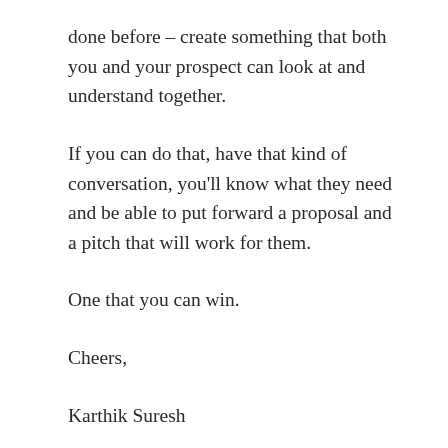done before – create something that both you and your prospect can look at and understand together.
If you can do that, have that kind of conversation, you'll know what they need and be able to put forward a proposal and a pitch that will work for them.
One that you can win.
Cheers,
Karthik Suresh